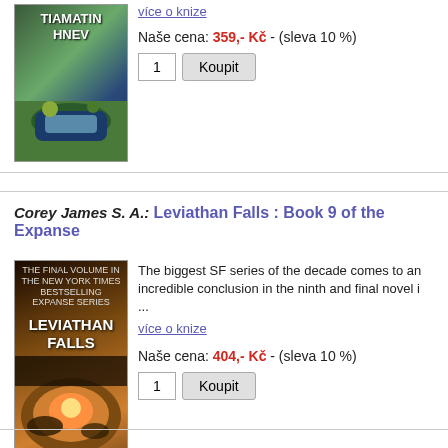více o knize
Naše cena: 359,- Kč - (sleva 10 %)
Corey James S. A.: Leviathan Falls : Book 9 of the Expanse
[Figure (photo): Book cover of Leviathan Falls by James S. A. Corey]
The biggest SF series of the decade comes to an incredible conclusion in the ninth and final novel i ...
více o knize
Naše cena: 404,- Kč - (sleva 10 %)